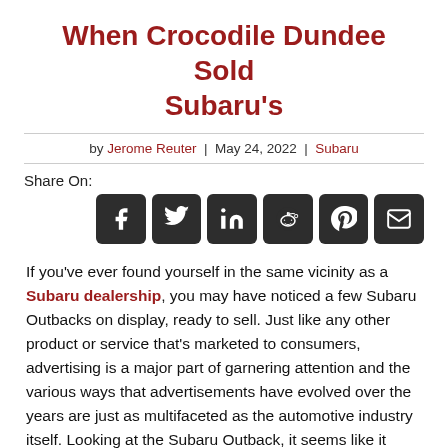When Crocodile Dundee Sold Subaru's
by Jerome Reuter | May 24, 2022 | Subaru
[Figure (infographic): Social share icons for Facebook, Twitter, LinkedIn, Reddit, Pinterest, and Email]
If you've ever found yourself in the same vicinity as a Subaru dealership, you may have noticed a few Subaru Outbacks on display, ready to sell. Just like any other product or service that's marketed to consumers, advertising is a major part of garnering attention and the various ways that advertisements have evolved over the years are just as multifaceted as the automotive industry itself. Looking at the Subaru Outback, it seems like it would be a difficult vehicle to market and the challenge lies in which demographic would have the most interest.